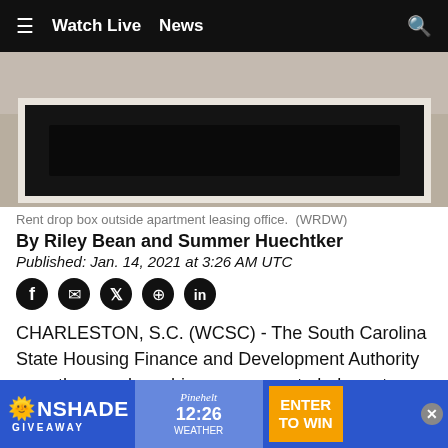≡  Watch Live  News
[Figure (photo): Rent drop box mounted in white frame on wall, viewed from outside apartment leasing office]
Rent drop box outside apartment leasing office.  (WRDW)
By Riley Bean and Summer Huechtker
Published: Jan. 14, 2021 at 3:26 AM UTC
CHARLESTON, S.C. (WCSC) - The South Carolina State Housing Finance and Development Authority says they are launching a program to help renters and homeowners who have struggled to pay their bills because of the pandemic and quarantine.
The sta...Ford South C...